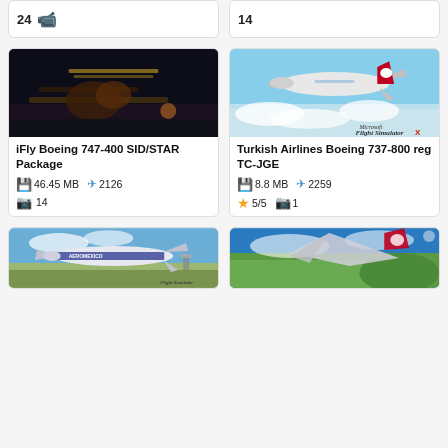[Figure (screenshot): Partial card top row with number 24 and video camera icon]
[Figure (screenshot): Partial card top row with number 14]
[Figure (photo): iFly Boeing 747-400 night scene at airport]
iFly Boeing 747-400 SID/STAR Package
46.45 MB  2126  14
[Figure (photo): Turkish Airlines Boeing 737-800 in flight, Flight Simulator X]
Turkish Airlines Boeing 737-800 reg TC-JGE
8.8 MB  2259  5/5  1
[Figure (photo): Aeromexico / United livery Boeing aircraft on approach, Flight Simulator]
[Figure (photo): Aircraft wing over green landscape, Turkish Airlines livery]